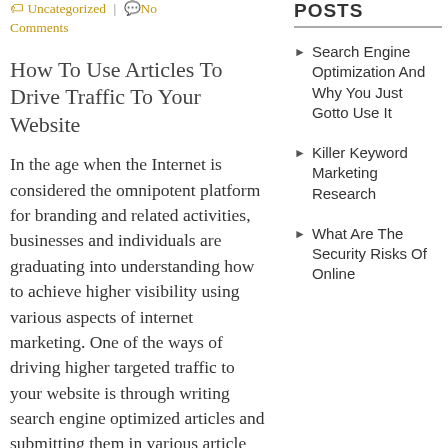🏷 Uncategorized | 💬 No Comments
How To Use Articles To Drive Traffic To Your Website
In the age when the Internet is considered the omnipotent platform for branding and related activities, businesses and individuals are graduating into understanding how to achieve higher visibility using various aspects of internet marketing. One of the ways of driving higher targeted traffic to your website is through writing search engine optimized articles and submitting them in various article
POSTS
Search Engine Optimization And Why You Just Gotto Use It
Killer Keyword Marketing Research
What Are The Security Risks Of Online